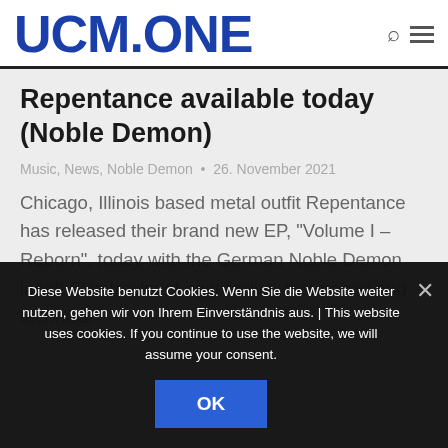UCM.ONE
Repentance available today (Noble Demon)
Music, News, Noble Demon • 26. November 2021
Chicago, Illinois based metal outfit Repentance has released their brand new EP, "Volume I – Reborn", today with the German Noble Demon label! Five tracks of aggressive, fast-paced and technical
Diese Website benutzt Cookies. Wenn Sie die Website weiter nutzen, gehen wir von Ihrem Einverständnis aus. | This website uses cookies. If you continue to use the website, we will assume your consent.